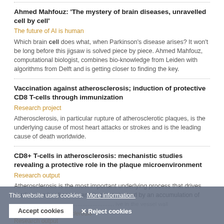Ahmed Mahfouz: 'The mystery of brain diseases, unravelled cell by cell'
The future of AI is human
Which brain cell does what, when Parkinson's disease arises? It won't be long before this jigsaw is solved piece by piece. Ahmed Mahfouz, computational biologist, combines bio-knowledge from Leiden with algorithms from Delft and is getting closer to finding the key.
Vaccination against atherosclerosis; induction of protective CD8 T-cells through immunization
Research project
Atherosclerosis, in particular rupture of atherosclerotic plaques, is the underlying cause of most heart attacks or strokes and is the leading cause of death worldwide.
CD8+ T-cells in atherosclerosis: mechanistic studies revealing a protective role in the plaque microenvironment
Research output
Atherosclerosis is the most important underlying process that drives cardiovascular disease, and is characterized by an accumulation of...
This website uses cookies. More information.
Accept cookies | Reject cookies